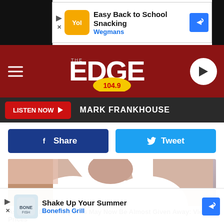[Figure (screenshot): Wegmans ad banner: Easy Back to School Snacking with Wegmans logo and navigation arrow]
[Figure (logo): The Edge 104.9 radio station logo on dark red background with hamburger menu and play button]
LISTEN NOW ▶  MARK FRANKHOUSE
[Figure (other): Facebook Share button and Twitter Tweet button]
[Figure (photo): Close-up photo of a person in a white collared shirt]
Ashburn: Dental Implants May Now Be Almost Given Away: View Prices
Dental Implants
Search Now
[Figure (screenshot): Bonefish Grill ad: Shake Up Your Summer with Bonefish Grill logo and navigation arrow]